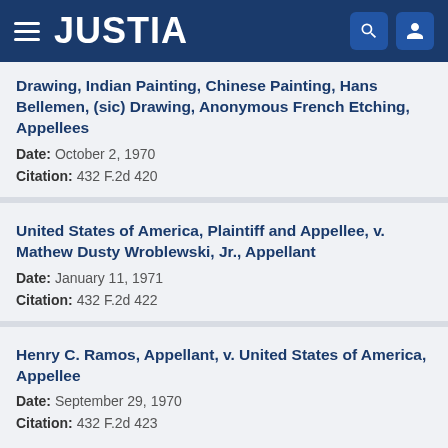JUSTIA
Drawing, Indian Painting, Chinese Painting, Hans Bellemen, (sic) Drawing, Anonymous French Etching, Appellees
Date: October 2, 1970
Citation: 432 F.2d 420
United States of America, Plaintiff and Appellee, v. Mathew Dusty Wroblewski, Jr., Appellant
Date: January 11, 1971
Citation: 432 F.2d 422
Henry C. Ramos, Appellant, v. United States of America, Appellee
Date: September 29, 1970
Citation: 432 F.2d 423